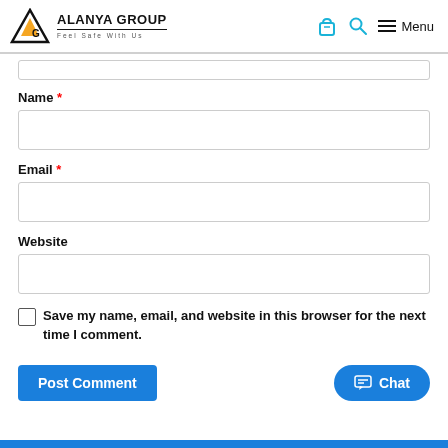ALANYA GROUP — Feel Safe With Us
Name *
Email *
Website
Save my name, email, and website in this browser for the next time I comment.
Post Comment
Chat